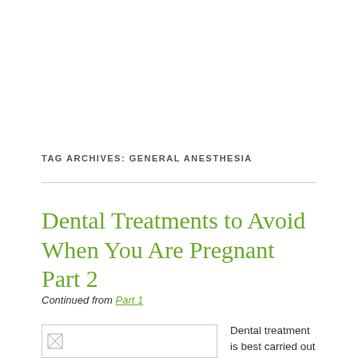TAG ARCHIVES: GENERAL ANESTHESIA
Dental Treatments to Avoid When You Are Pregnant Part 2
Continued from Part 1
[Figure (photo): Broken/placeholder image thumbnail]
Dental treatment is best carried out during